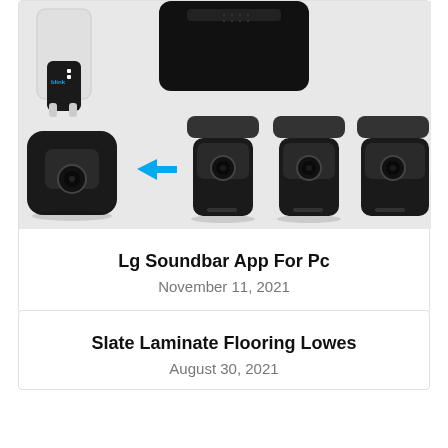[Figure (photo): Product photo of Blink security cameras and accessories: shows a white wall mount with a small Blink camera unit top left, large black camera top center, and a row showing one camera transforming (blue arrow) into three mounted black cameras]
Lg Soundbar App For Pc
November 11, 2021
Slate Laminate Flooring Lowes
August 30, 2021